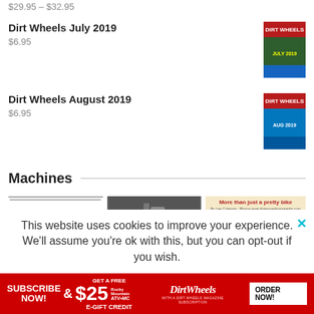$29.95 – $32.95
Dirt Wheels July 2019
$6.95
Dirt Wheels August 2019
$6.95
Machines
[Figure (screenshot): Project Oil Mod article thumbnail]
[Figure (photo): ATV/dirt bike close-up photo]
[Figure (screenshot): More than just a pretty bike article thumbnail]
This website uses cookies to improve your experience. We'll assume you're ok with this, but you can opt-out if you wish.
[Figure (infographic): Subscribe Now! red advertisement bar - Get a Free $25 Rocky Mountain ATV/MC E-Gift Credit, Dirt Wheels, Order Now!]